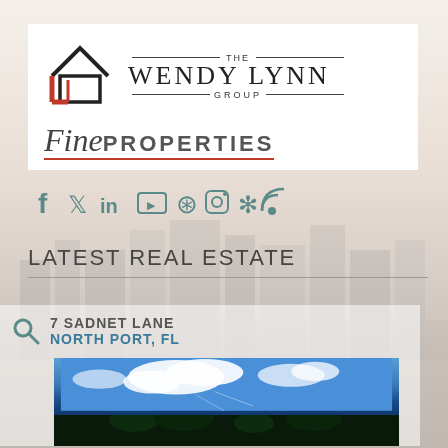[Figure (logo): The Wendy Lynn Group logo with house icon and Fine Properties text]
[Figure (infographic): Social media icons: Facebook, Twitter, LinkedIn, YouTube, Pinterest, Instagram, Yelp, RSS feed]
LATEST REAL ESTATE
7 SADNET LANE
NORTH PORT, FL
[Figure (photo): Property photo showing blue sky with clouds and trees in foreground]